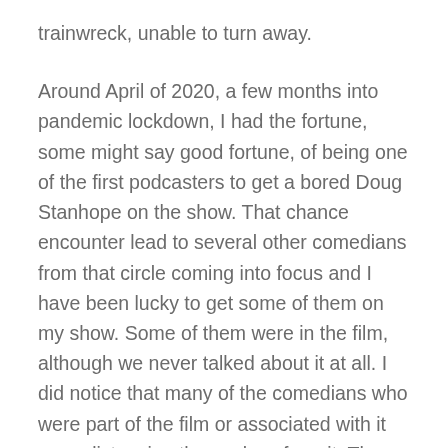trainwreck, unable to turn away.
Around April of 2020, a few months into pandemic lockdown, I had the fortune, some might say good fortune, of being one of the first podcasters to get a bored Doug Stanhope on the show. That chance encounter lead to several other comedians from that circle coming into focus and I have been lucky to get some of them on my show. Some of them were in the film, although we never talked about it at all. I did notice that many of the comedians who were part of the film or associated with it were distancing themselves from it. The only person with a favorable view of the film seemed to be James Inman, who seems to